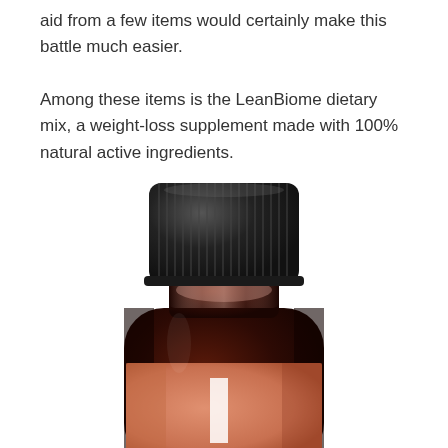aid from a few items would certainly make this battle much easier. Among these items is the LeanBiome dietary mix, a weight-loss supplement made with 100% natural active ingredients.
[Figure (photo): Close-up photo of a dark amber supplement bottle with a black ribbed cap and a salmon/terracotta colored label showing a partial white letter 'L', representing the LeanBiome dietary supplement product.]